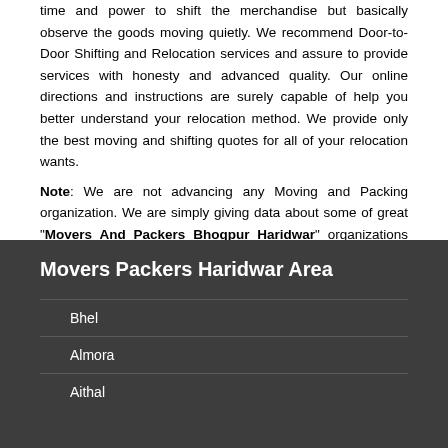time and power to shift the merchandise but basically observe the goods moving quietly. We recommend Door-to-Door Shifting and Relocation services and assure to provide services with honesty and advanced quality. Our online directions and instructions are surely capable of help you better understand your relocation method. We provide only the best moving and shifting quotes for all of your relocation wants.
Note: We are not advancing any Moving and Packing organization. We are simply giving data about some of great "Movers And Packers Bhogpur Haridwar" organizations and helping you get free gauges of great administration suppliers.
Movers Packers Haridwar Area
Bhel
Almora
Aithal